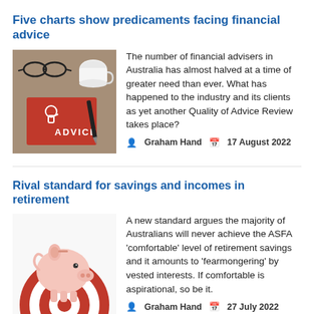Five charts show predicaments facing financial advice
[Figure (photo): Photo of glasses, coffee cup, pen and a red notebook with ADVICE text on the cover on a wooden desk]
The number of financial advisers in Australia has almost halved at a time of greater need than ever. What has happened to the industry and its clients as yet another Quality of Advice Review takes place?
Graham Hand   17 August 2022
Rival standard for savings and incomes in retirement
[Figure (photo): Photo of a white piggy bank sitting on a red and white bullseye target]
A new standard argues the majority of Australians will never achieve the ASFA 'comfortable' level of retirement savings and it amounts to 'fearmongering' by vested interests. If comfortable is aspirational, so be it.
Graham Hand   27 July 2022